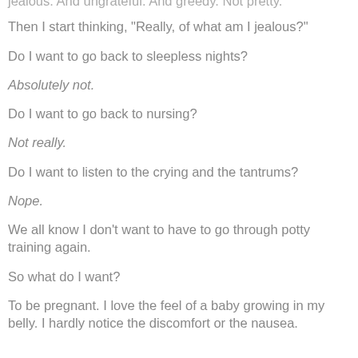jealous. And ungrateful. And greedy. Not pretty.
Then I start thinking, "Really, of what am I jealous?"
Do I want to go back to sleepless nights?
Absolutely not.
Do I want to go back to nursing?
Not really.
Do I want to listen to the crying and the tantrums?
Nope.
We all know I don't want to have to go through potty training again.
So what do I want?
To be pregnant.  I love the feel of a baby growing in my belly.  I hardly notice the discomfort or the nausea.